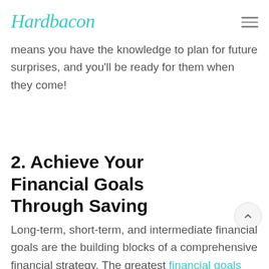Hardbacon
means you have the knowledge to plan for future surprises, and you'll be ready for them when they come!
2. Achieve Your Financial Goals Through Saving
Long-term, short-term, and intermediate financial goals are the building blocks of a comprehensive financial strategy. The greatest financial goals are